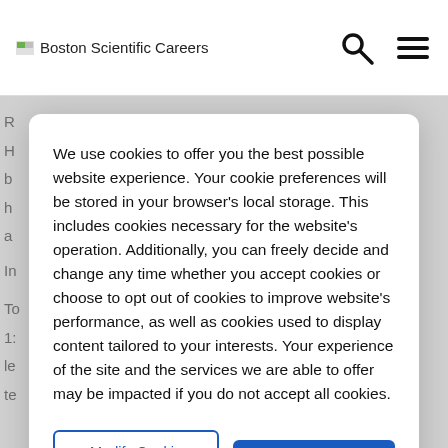Boston Scientific Careers
We use cookies to offer you the best possible website experience. Your cookie preferences will be stored in your browser's local storage. This includes cookies necessary for the website's operation. Additionally, you can freely decide and change any time whether you accept cookies or choose to opt out of cookies to improve website's performance, as well as cookies used to display content tailored to your interests. Your experience of the site and the services we are able to offer may be impacted if you do not accept all cookies.
Modify Cookie Preferences
Accept All Cookies